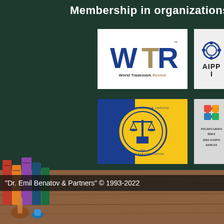Membership in organizations
[Figure (logo): World Trademark Review (WTR) logo — large blue W, gold T, blue R letters with 'World Trademark Review' text below]
[Figure (logo): AIPPI logo — blue circular gear/wheel icon with arrows, text 'AIPPI' below]
[Figure (logo): Ukrainian Bar Association logo — blue and yellow background with scales of justice emblem and circular text]
[Figure (logo): Polsko-Ukrainska Izba Gospodarcza logo — colorful puzzle pieces and text]
"Dr. Emil Benatov & Partners" © 1993-2022